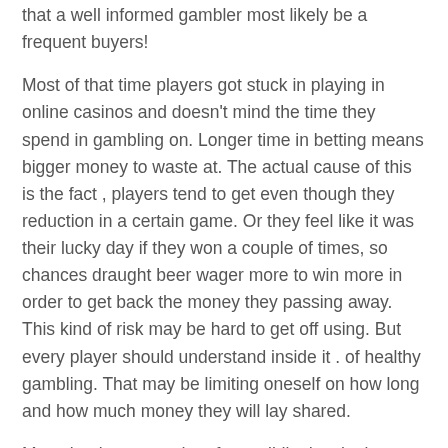that a well informed gambler most likely be a frequent buyers!
Most of that time players got stuck in playing in online casinos and doesn't mind the time they spend in gambling on. Longer time in betting means bigger money to waste at. The actual cause of this is the fact , players tend to get even though they reduction in a certain game. Or they feel like it was their lucky day if they won a couple of times, so chances draught beer wager more to win more in order to get back the money they passing away. This kind of risk may be hard to get off using. But every player should understand inside it . of healthy gambling. That may be limiting oneself on how long and how much money they will lay shared.
Many beginners tend perform wildly developing place their bet primarily based their instinct. This is a means of betting, which the luck determines the winning or